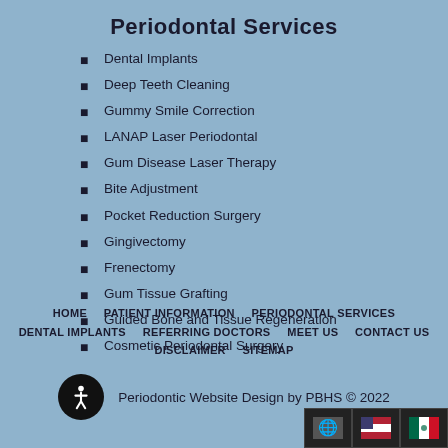Periodontal Services
Dental Implants
Deep Teeth Cleaning
Gummy Smile Correction
LANAP Laser Periodontal
Gum Disease Laser Therapy
Bite Adjustment
Pocket Reduction Surgery
Gingivectomy
Frenectomy
Gum Tissue Grafting
Guided Bone and Tissue Regeneration
Cosmetic Periodontal Surgery
HOME   PATIENT INFORMATION   PERIODONTAL SERVICES   DENTAL IMPLANTS   REFERRING DOCTORS   MEET US   CONTACT US   DISCLAIMER   SITEMAP
Periodontic Website Design by PBHS © 2022